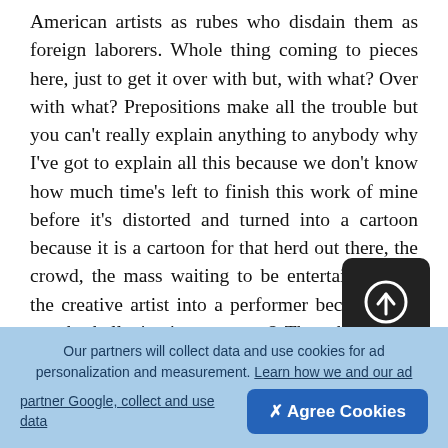American artists as rubes who disdain them as foreign laborers. Whole thing coming to pieces here, just to get it over with but, with what? Over with what? Prepositions make all the trouble but you can't really explain anything to anybody why I've got to explain all this because we don't know how much time's left to finish this work of mine before it's distorted and turned into a cartoon because it is a cartoon for that herd out there, the crowd, the mass waiting to be entertained, turn the creative artist into a performer because they are the hallucination, you see? The whole thing turned upside down, the kittens are bit and houses are built without walls, you see? Used to be the reality was the stone Doctor Johnson kicked
[Figure (other): Dark rounded square button with a white upload/arrow-circle icon, overlaying the text content]
Our partners will collect data and use cookies for ad personalization and measurement. Learn how we and our ad partner Google, collect and use data
✕ Agree Cookies